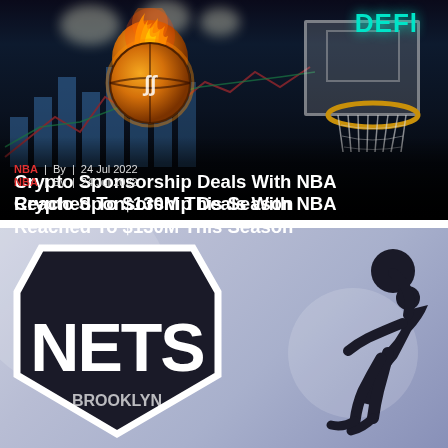[Figure (photo): Basketball with a crypto coin design on fire flying toward a basketball hoop with a backboard labeled 'DEFI', set against a dark arena background with stock chart overlays]
NBA  |  By  |  24 Jul 2022
Crypto Sponsorship Deals With NBA Reached To $130M This Season
[Figure (photo): Brooklyn Nets shield logo on the left and a basketball player silhouette dunking on the right, set against a light purple/gray gradient background]